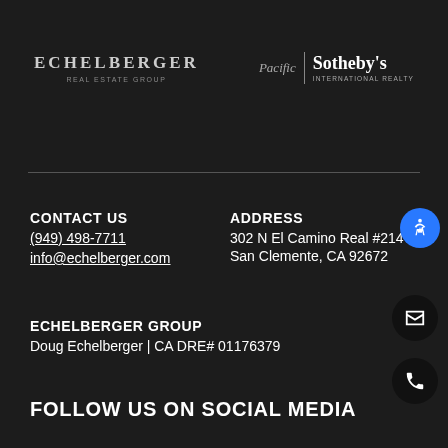[Figure (logo): Echelberger Real Estate Group logo — company name in spaced letters with tagline below]
[Figure (logo): Pacific Sotheby's International Realty logo with vertical divider]
CONTACT US
(949) 498-7711
info@echelberger.com
ADDRESS
302 N El Camino Real #214
San Clemente, CA 92672
ECHELBERGER GROUP
Doug Echelberger | CA DRE# 01176379
FOLLOW US ON SOCIAL MEDIA